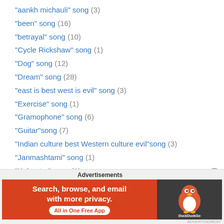"aankh michauli" song (3)
"been" song (16)
"betrayal" song (10)
"Cycle Rickshaw" song (1)
"Dog" song (12)
"Dream" song (28)
"east is best west is evil" song (3)
"Exercise" song (1)
"Gramophone" song (6)
"Guitar"song (7)
"Indian culture best Western culture evil"song (3)
"Janmashtami" song (1)
"Kabootar" song (1)
"khatiya" song (3)
"Kotha" song (3)
"Mehfil" song (2)
Advertisements
[Figure (other): DuckDuckGo advertisement banner: orange background with text 'Search, browse, and email with more privacy. All in One Free App' and DuckDuckGo logo on dark right panel]